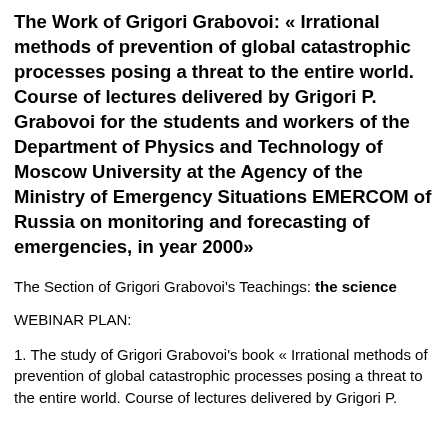The Work of Grigori Grabovoi: « Irrational methods of prevention of global catastrophic processes posing a threat to the entire world. Course of lectures delivered by Grigori P. Grabovoi for the students and workers of the Department of Physics and Technology of Moscow University at the Agency of the Ministry of Emergency Situations EMERCOM of Russia on monitoring and forecasting of emergencies, in year 2000»
The Section of Grigori Grabovoi's Teachings: the science
WEBINAR PLAN:
1. The study of Grigori Grabovoi's book « Irrational methods of prevention of global catastrophic processes posing a threat to the entire world. Course of lectures delivered by Grigori P.